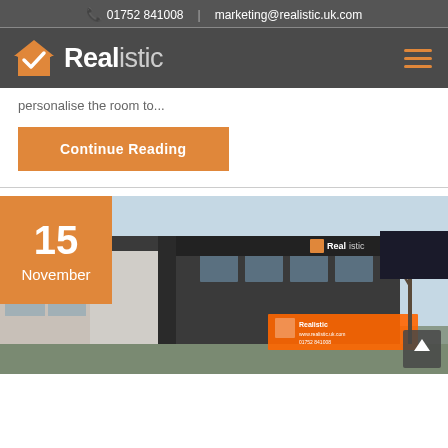📞 01752 841008  |  marketing@realistic.uk.com
[Figure (logo): Realistic logo with orange house/checkmark icon and white bold text on dark grey nav bar]
personalise the room to...
Continue Reading
[Figure (photo): Photo of the Realistic showroom building exterior with signage, date badge showing 15 November in orange overlay, and scroll-up button]
15 November